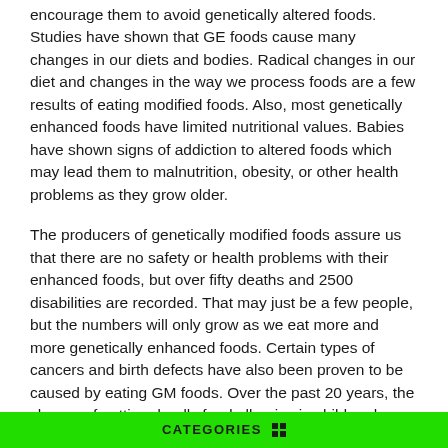encourage them to avoid genetically altered foods. Studies have shown that GE foods cause many changes in our diets and bodies. Radical changes in our diet and changes in the way we process foods are a few results of eating modified foods. Also, most genetically enhanced foods have limited nutritional values. Babies have shown signs of addiction to altered foods which may lead them to malnutrition, obesity, or other health problems as they grow older.
The producers of genetically modified foods assure us that there are no safety or health problems with their enhanced foods, but over fifty deaths and 2500 disabilities are recorded. That may just be a few people, but the numbers will only grow as we eat more and more genetically enhanced foods. Certain types of cancers and birth defects have also been proven to be caused by eating GM foods. Over the past 20 years, the chance of getting deadly food allergies in children has tripled. Parents have to check for things their children are allergic to in everything they buy. None of thee
CATEGORIES